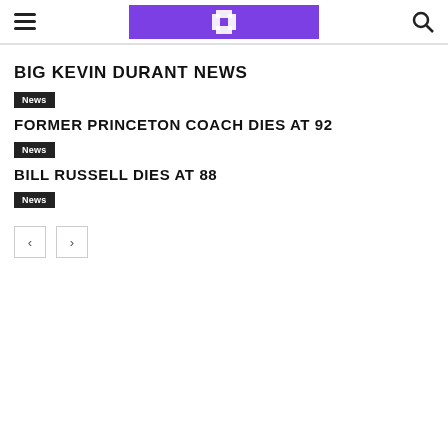Navigation header with hamburger menu, site logo, and search icon
BIG KEVIN DURANT NEWS
News
FORMER PRINCETON COACH DIES AT 92
News
BILL RUSSELL DIES AT 88
News